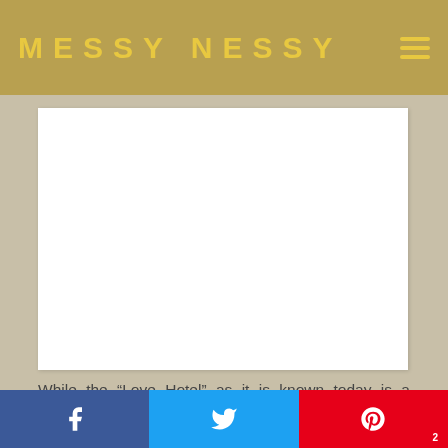MESSY NESSY
[Figure (photo): White blank image placeholder inside a white card on a beige/tan textured background]
While the “Love Hotel” as it is known today is a relatively new concept to Paris, it’s estimated that 1.4 million Japanese people, that’s 2% of the
Facebook share | Twitter share | Pinterest share (2)